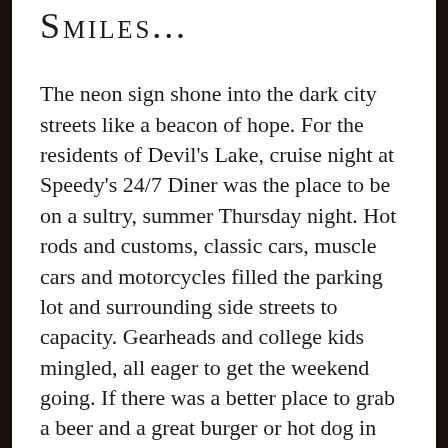SMILES...
The neon sign shone into the dark city streets like a beacon of hope. For the residents of Devil's Lake, cruise night at Speedy's 24/7 Diner was the place to be on a sultry, summer Thursday night. Hot rods and customs, classic cars, muscle cars and motorcycles filled the parking lot and surrounding side streets to capacity. Gearheads and college kids mingled, all eager to get the weekend going. If there was a better place to grab a beer and a great burger or hot dog in the area, nobody knew about it.
Inside the polished-aluminum clad diner, black-and-white checkered floor tiles, chrome-legged barstools and red vinyl-covered booths gave the joint a classic, fifties-period atmosphere. Busy bowling-shirt clad servers hustled from tables